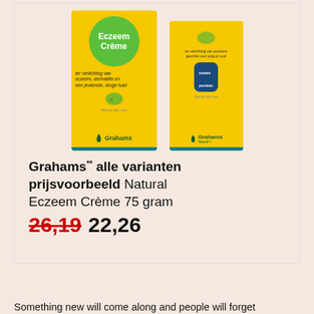[Figure (photo): Two Grahams Natural Eczeem Crème product boxes on a light pink background. Left box is larger/front with green circle label reading 'Eczeem Crème', right box shows back/side panel. Both boxes are yellow with teal bottom stripe and Grahams logo.]
Grahams** alle varianten prijsvoorbeeld Natural Eczeem Crème 75 gram 26,19 22,26
Something new will come along and people will forget